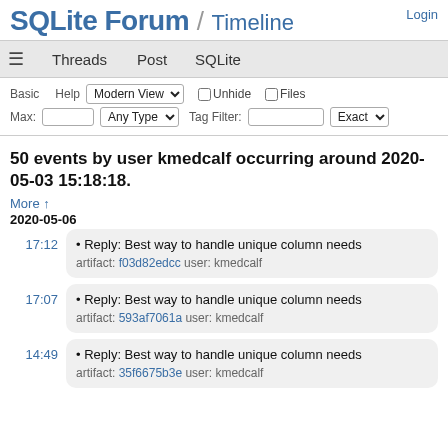SQLite Forum / Timeline
Login
≡  Threads  Post  SQLite
Basic  Help  Modern View  Unhide  Files  Max:  Any Type  Tag Filter:  Exact
50 events by user kmedcalf occurring around 2020-05-03 15:18:18.
More ↑
2020-05-06
17:12 • Reply: Best way to handle unique column needs  artifact: f03d82edcc user: kmedcalf
17:07 • Reply: Best way to handle unique column needs  artifact: 593af7061a user: kmedcalf
14:49 • Reply: Best way to handle unique column needs  artifact: 35f6675b3e user: kmedcalf